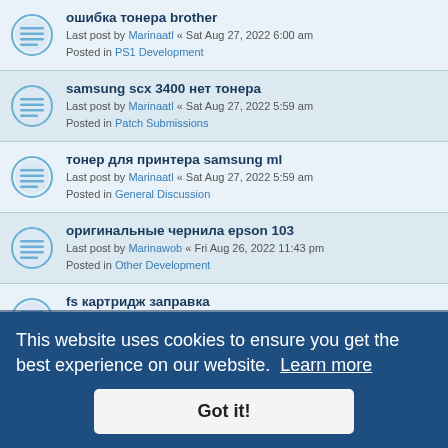ошибка тонера brother
Last post by Marinaatl « Sat Aug 27, 2022 6:00 am
Posted in PS1 Development
samsung scx 3400 нет тонера
Last post by Marinaatl « Sat Aug 27, 2022 5:59 am
Posted in Patch Submissions
тонер для принтера samsung ml
Last post by Marinaatl « Sat Aug 27, 2022 5:59 am
Posted in General Discussion
оригинальные чернила epson 103
Last post by Marinawob « Fri Aug 26, 2022 11:43 pm
Posted in Other Development
fs картридж заправка
Last post by Marinawob « Fri Aug 26, 2022 11:42 pm
Posted in PSP Lua Player Development
чипы для картриджей hp cf259x
Last post by Marinawob « Fri Aug 26, 2022 11:43 am
(partially visible)
(partially visible row)
картридж kyocera... (partially visible)
заправка картриджей малиновка (partially visible)
This website uses cookies to ensure you get the best experience on our website. Learn more
Got it!